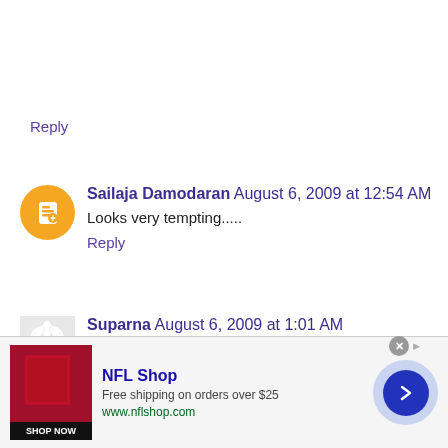Reply
Sailaja Damodaran August 6, 2009 at 12:54 AM
Looks very tempting.....
Reply
Suparna August 6, 2009 at 1:01 AM
Chitra,
havent heard of sundakkai, could u tell me an alternative
[Figure (screenshot): NFL Shop advertisement banner with red jersey image, Shop Now button, free shipping offer text, and navigation arrow]